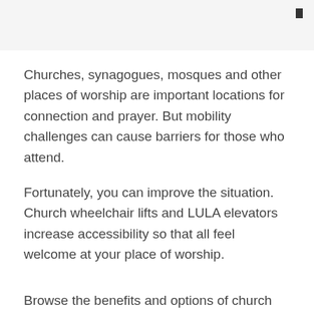Churches, synagogues, mosques and other places of worship are important locations for connection and prayer. But mobility challenges can cause barriers for those who attend.
Fortunately, you can improve the situation. Church wheelchair lifts and LULA elevators increase accessibility so that all feel welcome at your place of worship.
Browse the benefits and options of church stair lifts, wheelchair lifts and elevators below.